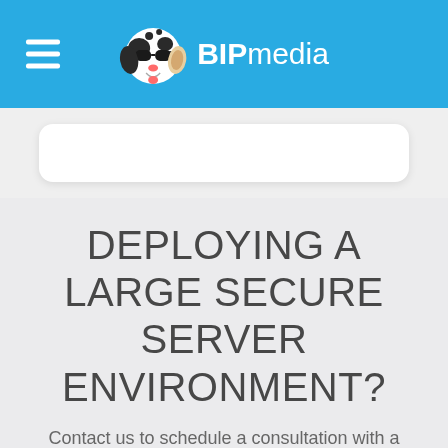BIPmedia navigation header with hamburger menu and dalmatian dog logo
[Figure (other): White rounded card element partially visible below navigation bar]
DEPLOYING A LARGE SECURE SERVER ENVIRONMENT?
Contact us to schedule a consultation with a cloud engineer.
SCHEDULE A CONSULTATION